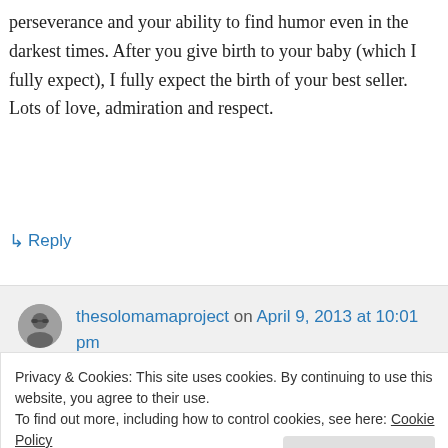perseverance and your ability to find humor even in the darkest times. After you give birth to your baby (which I fully expect), I fully expect the birth of your best seller. Lots of love, admiration and respect.
↳ Reply
thesolomamaproject on April 9, 2013 at 10:01 pm
Privacy & Cookies: This site uses cookies. By continuing to use this website, you agree to their use.
To find out more, including how to control cookies, see here: Cookie Policy
Close and accept
to see you soon.